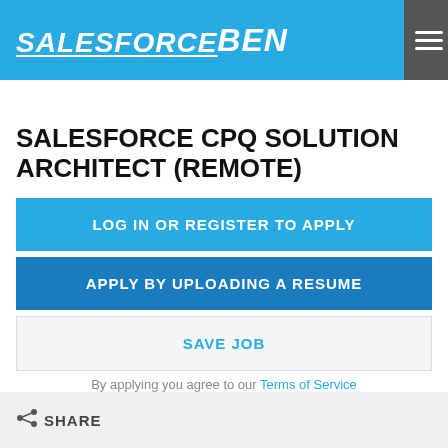SALESFORCEBEN
SALESFORCE CPQ SOLUTION ARCHITECT (REMOTE)
LOG IN OR REGISTER TO APPLY
APPLY BY UPLOADING A RESUME
SAVE JOB
By applying you agree to our Terms of Service
SHARE